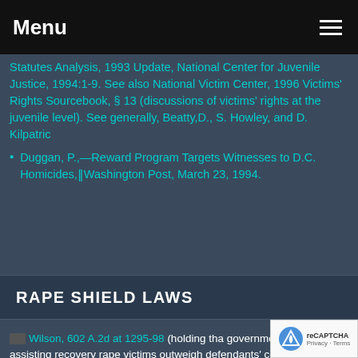Menu
Statutes Analysis, 1993 Update, National Center for Juvenile Justice, 1994:1-9. See also National Victim Center, 1996 Victims' Rights Sourcebook, § 13 (discussions of victims' rights at the juvenile level). See generally, Beatty,D., S. Howley, and D. Kilpatric
Duggan, P.,—Reward Program Targets Witnesses to D.C. Homicides,‖Washington Post, March 23, 1994.
RAPE SHIELD LAWS
Wilson, 602 A.2d at 1295-98 (holding tha government interests in assisting recovery rape victims outweigh defendants' constitutio